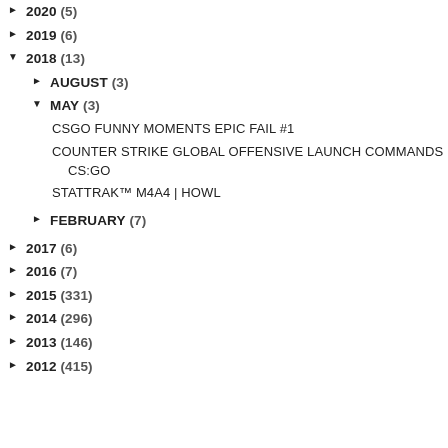► 2020 (5)
► 2019 (6)
▼ 2018 (13)
► AUGUST (3)
▼ MAY (3)
CSGO FUNNY MOMENTS EPIC FAIL #1
COUNTER STRIKE GLOBAL OFFENSIVE LAUNCH COMMANDS CS:GO
STATTRAK™ M4A4 | HOWL
► FEBRUARY (7)
► 2017 (6)
► 2016 (7)
► 2015 (331)
► 2014 (296)
► 2013 (146)
► 2012 (415)